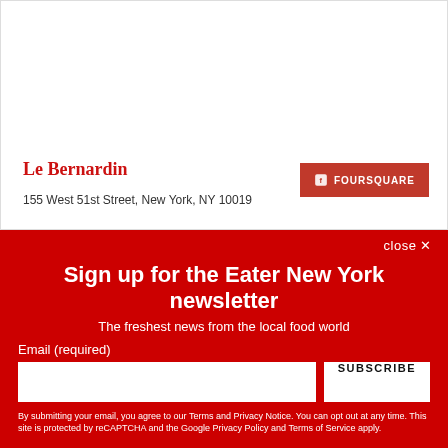Le Bernardin
155 West 51st Street, New York, NY 10019
[Figure (logo): Foursquare button with flag icon and text FOURSQUARE]
close ✕
Sign up for the Eater New York newsletter
The freshest news from the local food world
Email (required)
SUBSCRIBE
By submitting your email, you agree to our Terms and Privacy Notice. You can opt out at any time. This site is protected by reCAPTCHA and the Google Privacy Policy and Terms of Service apply.